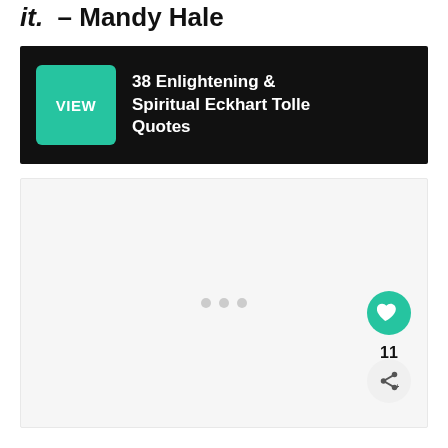it.  – Mandy Hale
[Figure (screenshot): Dark banner with teal VIEW button on the left and white bold text '38 Enlightening & Spiritual Eckhart Tolle Quotes' on the right]
[Figure (photo): Light grey image placeholder box with three small grey dots in the center, and a teal heart button (count: 11) and a share button on the lower right]